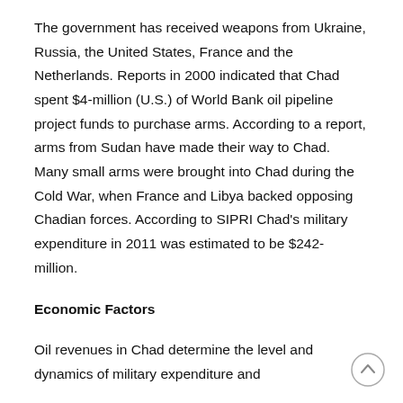The government has received weapons from Ukraine, Russia, the United States, France and the Netherlands. Reports in 2000 indicated that Chad spent $4-million (U.S.) of World Bank oil pipeline project funds to purchase arms. According to a report, arms from Sudan have made their way to Chad. Many small arms were brought into Chad during the Cold War, when France and Libya backed opposing Chadian forces. According to SIPRI Chad's military expenditure in 2011 was estimated to be $242-million.
Economic Factors
Oil revenues in Chad determine the level and dynamics of military expenditure and